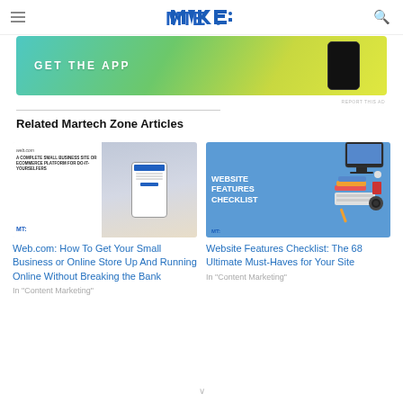MTE - Make Tech Easier
[Figure (screenshot): GET THE APP advertisement banner with gradient teal-to-yellow background and phone mockup]
Related Martech Zone Articles
[Figure (screenshot): Web.com article thumbnail showing web.com branding and device mockup]
Web.com: How To Get Your Small Business or Online Store Up And Running Online Without Breaking the Bank
In "Content Marketing"
[Figure (screenshot): Website Features Checklist article thumbnail with blue background and office items]
Website Features Checklist: The 68 Ultimate Must-Haves for Your Site
In "Content Marketing"